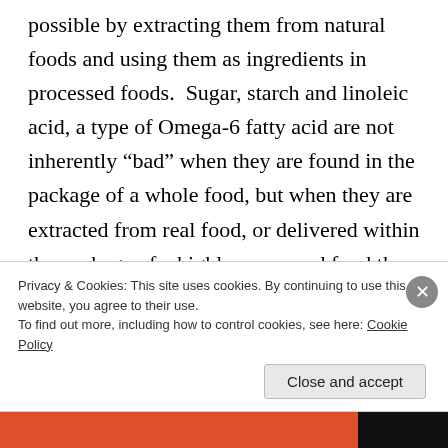possible by extracting them from natural foods and using them as ingredients in processed foods.  Sugar, starch and linoleic acid, a type of Omega-6 fatty acid are not inherently “bad” when they are found in the package of a whole food, but when they are extracted from real food, or delivered within the package of a highly processed food they become problematic. Starch from wheat is highly processed and inherently different than starch in a sweet potato or starch in white rice because it is rapidly digested and raises blood sugar faster than most commonly consumed
Privacy & Cookies: This site uses cookies. By continuing to use this website, you agree to their use.
To find out more, including how to control cookies, see here: Cookie Policy
Close and accept